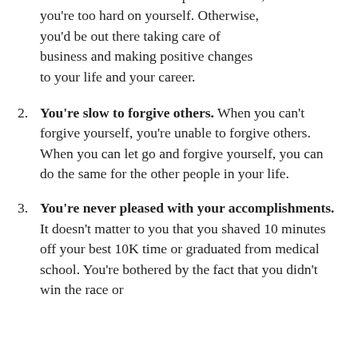situation for an extended period of time, you're too hard on yourself. Otherwise, you'd be out there taking care of business and making positive changes to your life and your career.
2. You're slow to forgive others. When you can't forgive yourself, you're unable to forgive others. When you can let go and forgive yourself, you can do the same for the other people in your life.
3. You're never pleased with your accomplishments. It doesn't matter to you that you shaved 10 minutes off your best 10K time or graduated from medical school. You're bothered by the fact that you didn't win the race or